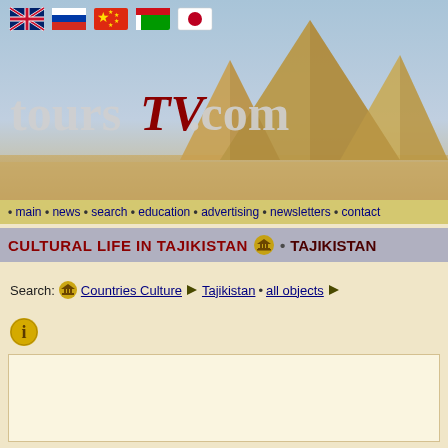[Figure (illustration): toursTVcom website header banner with Egyptian pyramids background, language flag icons (UK, Russia, China, Belarus/green, Japan), and toursTVcom logo in large serif font]
• main • news • search • education • advertising • newsletters • contact
CULTURAL LIFE IN TAJIKISTAN • TAJIKISTAN
Search: Countries Culture ▶ Tajikistan • all objects ▶
[Figure (illustration): Gold/yellow circular info icon (i)]